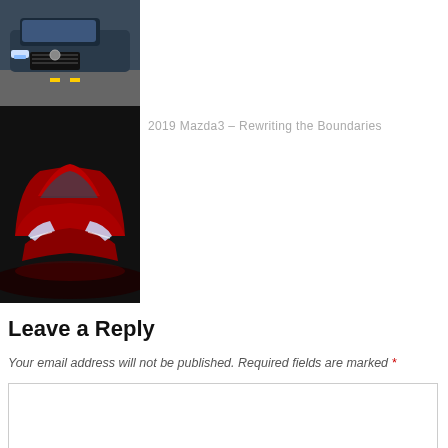[Figure (photo): Partial view of a blue/dark SUV (front grille visible) driving on a road]
[Figure (photo): Red Mazda3 hatchback parked in a dark studio setting, front three-quarter view]
2019 Mazda3 – Rewriting the Boundaries
Leave a Reply
Your email address will not be published. Required fields are marked *